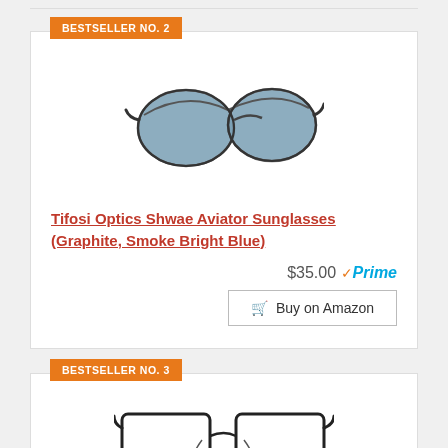BESTSELLER NO. 2
[Figure (photo): Aviator sunglasses with dark graphite frame and smoke bright blue lenses]
Tifosi Optics Shwae Aviator Sunglasses (Graphite, Smoke Bright Blue)
$35.00 Prime
Buy on Amazon
BESTSELLER NO. 3
[Figure (photo): Rectangular metal frame eyeglasses with dark frame]